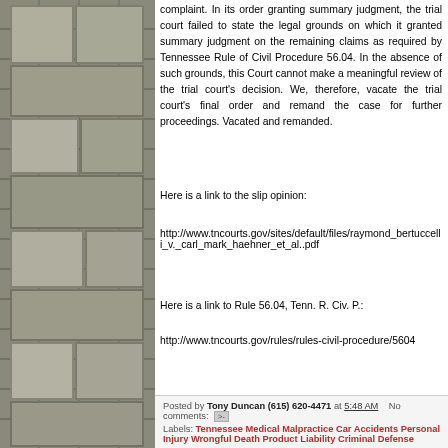complaint. In its order granting summary judgment, the trial court failed to state the legal grounds on which it granted summary judgment on the remaining claims as required by Tennessee Rule of Civil Procedure 56.04. In the absence of such grounds, this Court cannot make a meaningful review of the trial court's decision. We, therefore, vacate the trial court's final order and remand the case for further proceedings. Vacated and remanded.
Here is a link to the slip opinion:
http://www.tncourts.gov/sites/default/files/raymond_bertuccelli_v._carl_mark_haehner_et_al..pdf
Here is a link to Rule 56.04, Tenn. R. Civ. P.:
http://www.tncourts.gov/rules/rules-civil-procedure/5604
Posted by Tony Duncan (615) 620-4471 at 5:48 AM   No comments:   Labels: Tennessee Medical Malpractice Car Accidents Personal Injury Wrongful Death Product Liability Criminal Defense